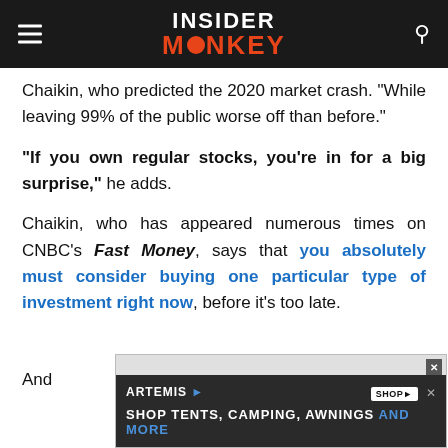INSIDER MONKEY
Chaikin, who predicted the 2020 market crash. “While leaving 99% of the public worse off than before.”
“If you own regular stocks, you’re in for a big surprise,” he adds.
Chaikin, who has appeared numerous times on CNBC’s Fast Money, says that you absolutely must consider buying one particular type of investment right now, before it’s too late.
And
[Figure (screenshot): Advertisement banner for Artemis: SHOP TENTS, CAMPING, AWNINGS AND MORE]